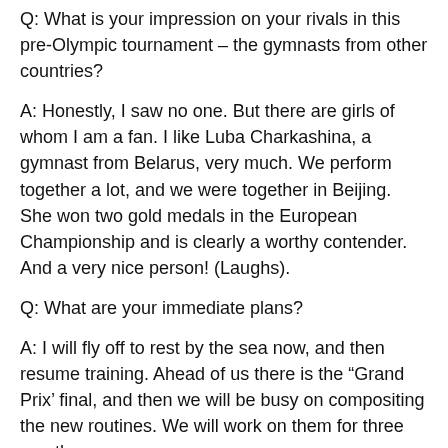Q: What is your impression on your rivals in this pre-Olympic tournament – the gymnasts from other countries?
A: Honestly, I saw no one. But there are girls of whom I am a fan. I like Luba Charkashina, a gymnast from Belarus, very much. We perform together a lot, and we were together in Beijing. She won two gold medals in the European Championship and is clearly a worthy contender. And a very nice person! (Laughs).
Q: What are your immediate plans?
A: I will fly off to rest by the sea now, and then resume training. Ahead of us there is the “Grand Prix’ final, and then we will be busy on compositing the new routines. We will work on them for three months.
Q: What specifically are you planning to work on during